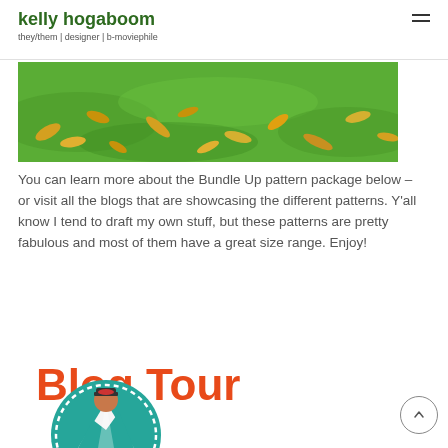kelly hogaboom
they/them | designer | b-moviephile
[Figure (photo): Photo of green grass lawn with yellow autumn leaves scattered on it]
You can learn more about the Bundle Up pattern package below – or visit all the blogs that are showcasing the different patterns. Y'all know I tend to draft my own stuff, but these patterns are pretty fabulous and most of them have a great size range. Enjoy!
[Figure (illustration): Blog Tour graphic with orange bold text 'Blog Tour' and a teal circle containing an illustrated figure wearing a winter hat]